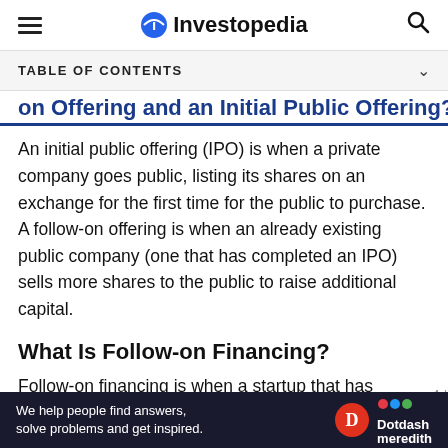Investopedia
TABLE OF CONTENTS
on Offering and an Initial Public Offering?
An initial public offering (IPO) is when a private company goes public, listing its shares on an exchange for the first time for the public to purchase. A follow-on offering is when an already existing public company (one that has completed an IPO) sells more shares to the public to raise additional capital.
What Is Follow-on Financing?
Follow-on financing is when a startup that has already raised capital raises additional capital through another round of funding. This is in the private space
[Figure (other): Dotdash Meredith advertisement banner: 'We help people find answers, solve problems and get inspired.']